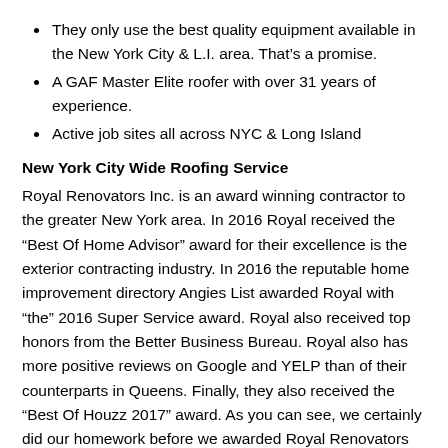They only use the best quality equipment available in the New York City & L.I. area. That's a promise.
A GAF Master Elite roofer with over 31 years of experience.
Active job sites all across NYC & Long Island
New York City Wide Roofing Service
Royal Renovators Inc. is an award winning contractor to the greater New York area. In 2016 Royal received the “Best Of Home Advisor” award for their excellence is the exterior contracting industry. In 2016 the reputable home improvement directory Angies List awarded Royal with “the” 2016 Super Service award. Royal also received top honors from the Better Business Bureau. Royal also has more positive reviews on Google and YELP than of their counterparts in Queens. Finally, they also received the “Best Of Houzz 2017” award. As you can see, we certainly did our homework before we awarded Royal Renovators Inc. with the “Queens Ledger Roofer Of The Year” award.